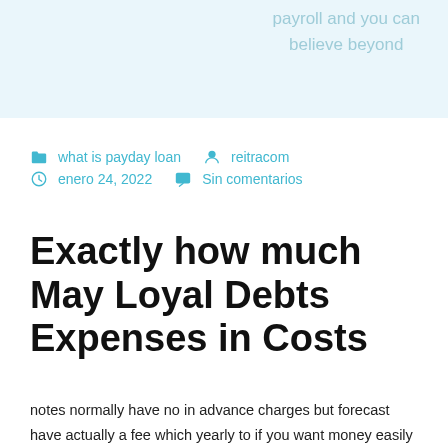payroll and you can believe beyond
what is payday loan   reitracom
enero 24, 2022   Sin comentarios
Exactly how much May Loyal Debts Expenses in Costs
notes normally have no in advance charges but forecast have actually a fee which yearly to if you want money easily